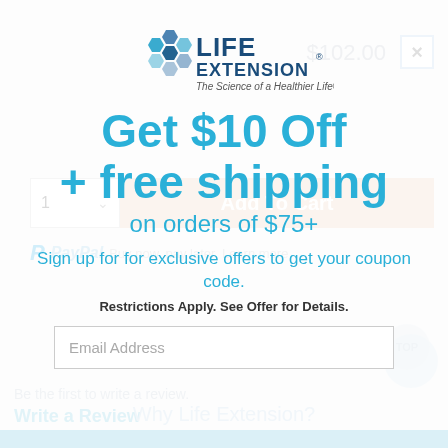[Figure (logo): Life Extension logo with tagline 'The Science of a Healthier Life']
$102.00
×
1  ∨
Add To Cart
PayPal  Buy now, pay later. Learn more
Get $10 Off
+ free shipping
on orders of $75+
Add To Wish List
Sign up for for exclusive offers to get your coupon code.
Be the first to write a review.
Write a Review
Restrictions Apply. See Offer for Details.
Email Address
Why Life Extension?